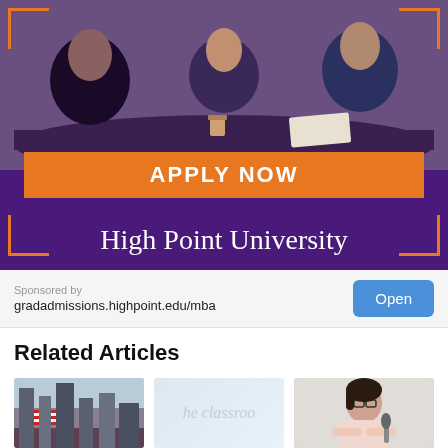[Figure (photo): Advertisement banner for High Point University showing a business meeting scene with people around a conference table. Purple background with orange corner brackets, an orange 'APPLY NOW' button, and the university name in white serif text.]
Sponsored by
gradadmissions.highpoint.edu/mba
Open
Related Articles
[Figure (photo): Photo of New York Stock Exchange building with American flag]
[Figure (photo): The Classroom logo/watermark on light blue background]
[Figure (photo): Woman with glasses and crossed arms standing near a microphone]